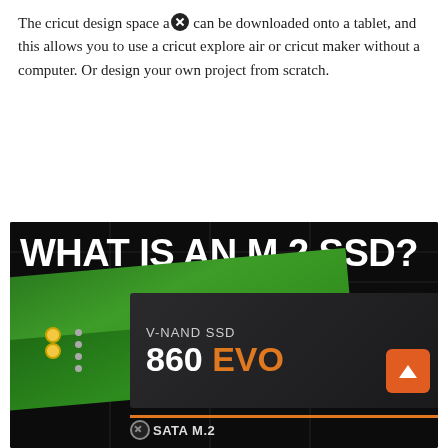The cricut design space app can be downloaded onto a tablet, and this allows you to use a cricut explore air or cricut maker without a computer. Or design your own project from scratch.
[Figure (photo): Promotional image with white bold text on dark background reading 'WHAT IS AN M.2 SSD? THE PROS, CONS, AND HOW TO INSTALL ONE' over a photo of a Samsung 860 EVO V-NAND SSD M.2 drive on a green PCB circuit board.]